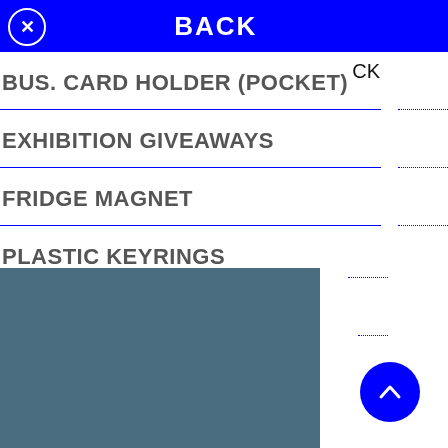BACK
BUS. CARD HOLDER (POCKET)
EXHIBITION GIVEAWAYS
FRIDGE MAGNET
PLASTIC KEYRINGS
POCKET GIFTS
[Figure (photo): Dark teal/blue-grey image block at the bottom left of the screen]